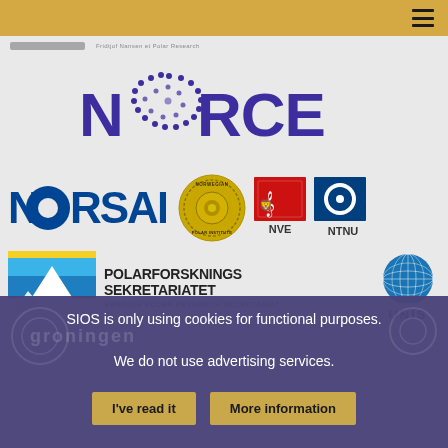[Figure (logo): Top golden navigation bar with hamburger menu icon]
[Figure (logo): NORCE logo - Norwegian Research Centre, purple text with dotted globe O]
[Figure (logo): NORSAR logo - blue text with blue circle O]
[Figure (logo): Norwegian Polar Institute circular badge logo]
[Figure (logo): NVE - red square with lion emblem logo]
[Figure (logo): NTNU - blue square with circle logo]
[Figure (logo): Polarforsknings Sekretariatet / Swedish Polar Research Secretariat logo with mountain image]
[Figure (logo): UNIS - University Centre in Svalbard, blue globe logo]
[Figure (logo): University of Bergen partial logo]
SIOS is only using cookies for functional purposes.
We do not use advertising services.
I've read it
More information